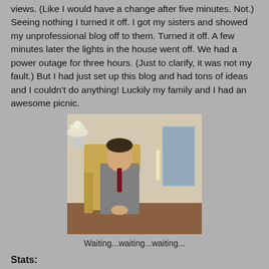views. (Like I would have a change after five minutes. Not.) Seeing nothing I turned it off. I got my sisters and showed my unprofessional blog off to them. Turned it off. A few minutes later the lights in the house went off. We had a power outage for three hours. (Just to clarify, it was not my fault.) But I had just set up this blog and had tons of ideas and I couldn't do anything! Luckily my family and I had an awesome picnic.
[Figure (photo): A man in a grey suit and dark red tie sitting in an ornate chair, appearing to be waiting patiently with hands clasped. Vintage-style photo, black and white or desaturated.]
Waiting...waiting...waiting...
Stats:
38 followers (wow, so far 19 a year! Love it!) Thank you so much for supporting this little blog. I really appreciate it! 16,076 page views all time. (!!!! I cannot believe this!!!!!)